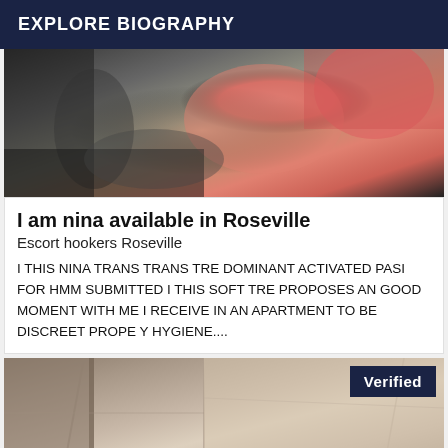EXPLORE BIOGRAPHY
[Figure (photo): Close-up photo of a person wearing pink and black clothing]
I am nina available in Roseville
Escort hookers Roseville
I THIS NINA TRANS TRANS TRE DOMINANT ACTIVATED PASI FOR HMM SUBMITTED I THIS SOFT TRE PROPOSES AN GOOD MOMENT WITH ME I RECEIVE IN AN APARTMENT TO BE DISCREET PROPE Y HYGIENE....
[Figure (photo): Photo of a room interior with beige/tan walls and tile surfaces, with a Verified badge overlay]